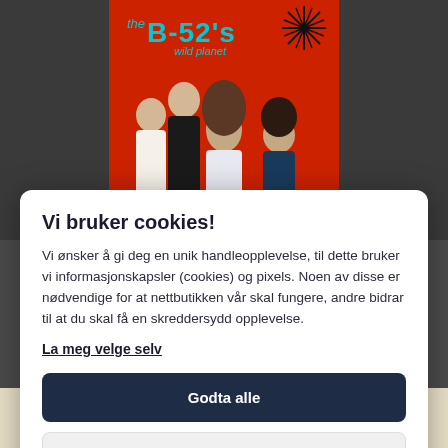[Figure (photo): The B-52's 'Wild Planet' album cover — red background with band members and stylized band logo text in teal/blue. A decorative starburst graphic in upper right.]
Vi bruker cookies!
Vi ønsker å gi deg en unik handleopplevelse, til dette bruker vi informasjonskapsler (cookies) og pixels. Noen av disse er nødvendige for at nettbutikken vår skal fungere, andre bidrar til at du skal få en skreddersydd opplevelse.
La meg velge selv
Godta alle
Godta kun nødvendige
[Figure (photo): Bottom portion of a 'The Band' album cover with sepia/cream tones and serif text 'THE BAND'.]